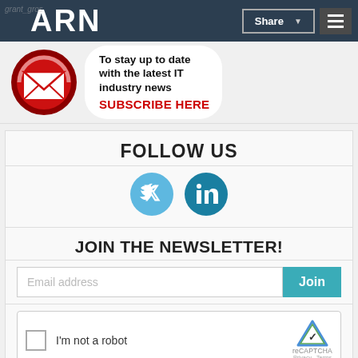ARN
[Figure (infographic): Subscribe banner with envelope icon and text: To stay up to date with the latest IT industry news SUBSCRIBE HERE]
To stay up to date with the latest IT industry news
SUBSCRIBE HERE
FOLLOW US
[Figure (infographic): Twitter and LinkedIn social media icon circles]
JOIN THE NEWSLETTER!
Email address
I'm not a robot
reCAPTCHA